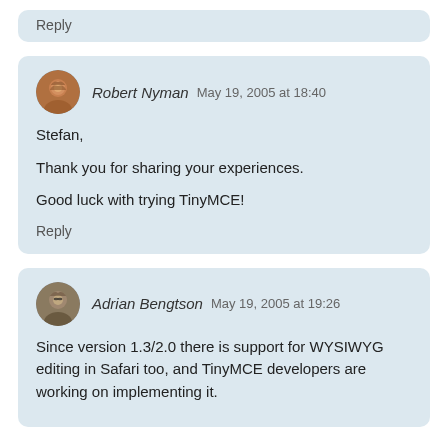Reply
Robert Nyman May 19, 2005 at 18:40
Stefan,

Thank you for sharing your experiences.

Good luck with trying TinyMCE!
Reply
Adrian Bengtson May 19, 2005 at 19:26
Since version 1.3/2.0 there is support for WYSIWYG editing in Safari too, and TinyMCE developers are working on implementing it.